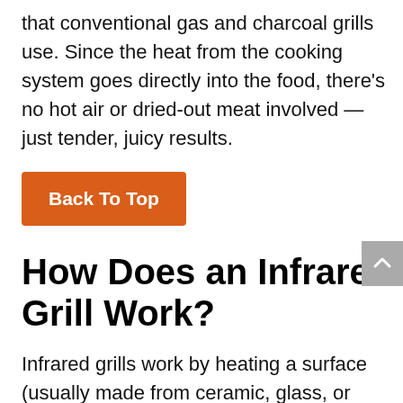that conventional gas and charcoal grills use. Since the heat from the cooking system goes directly into the food, there's no hot air or dried-out meat involved — just tender, juicy results.
Back To Top
How Does an Infrared Grill Work?
Infrared grills work by heating a surface (usually made from ceramic, glass, or steel), which then directs infrared heat waves directly onto the food.